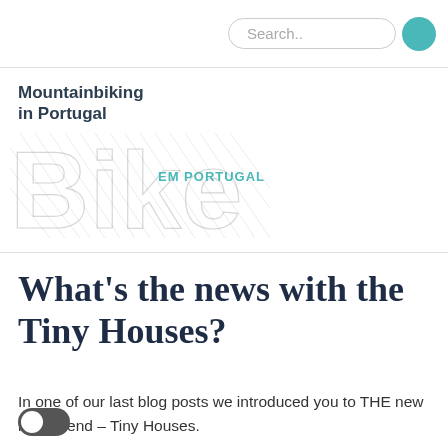Search..
[Figure (logo): Mountainbiking in Portugal / Bike EM PORTUGAL logo with stylized bike graphic in grey sketch style]
What's the news with the Tiny Houses?
In one of our last blog posts we introduced you to THE new living trend – Tiny Houses.